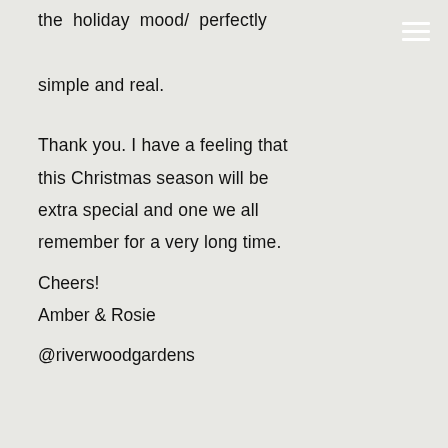the holiday mood/ perfectly simple and real.
Thank you. I have a feeling that this Christmas season will be extra special and one we all remember for a very long time. Cheers! Amber & Rosie @riverwoodgardens